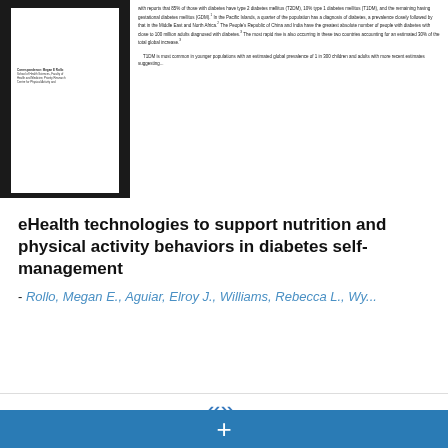[Figure (screenshot): Preview thumbnail of a medical journal article page showing dense body text and a correspondence address block.]
eHealth technologies to support nutrition and physical activity behaviors in diabetes self-management
- Rollo, Megan E., Aguiar, Elroy J., Williams, Rebecca L., Wy...
Creator: Rollo, Megan E. , Aguiar, Elroy J. , Williams, Rebecca L. , Wynne, Katie , Kriss, Michelle , Callister, Robin , Collins, Clare E.
Resource Type: journal article
Date: 2016